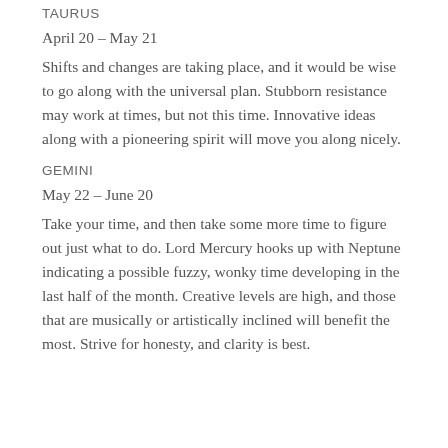TAURUS
April 20 – May 21
Shifts and changes are taking place, and it would be wise to go along with the universal plan. Stubborn resistance may work at times, but not this time. Innovative ideas along with a pioneering spirit will move you along nicely.
GEMINI
May 22 – June 20
Take your time, and then take some more time to figure out just what to do. Lord Mercury hooks up with Neptune indicating a possible fuzzy, wonky time developing in the last half of the month. Creative levels are high, and those that are musically or artistically inclined will benefit the most. Strive for honesty, and clarity is best.